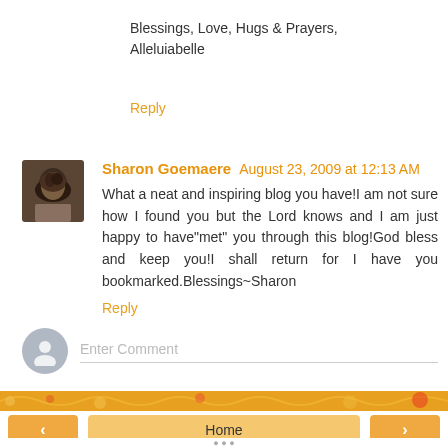Blessings, Love, Hugs & Prayers,
Alleluiabelle
Reply
Sharon Goemaere  August 23, 2009 at 12:13 AM
What a neat and inspiring blog you have!I am not sure how I found you but the Lord knows and I am just happy to have"met" you through this blog!God bless and keep you!I shall return for I have you bookmarked.Blessings~Sharon
Reply